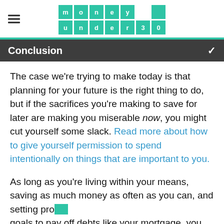money under 30 (logo)
Conclusion
The case we're trying to make today is that planning for your future is the right thing to do, but if the sacrifices you're making to save for later are making you miserable now, you might cut yourself some slack. Read more about how to give yourself permission to spend intentionally on things that are important to you.
As long as you're living within your means, saving as much money as often as you can, and setting proper goals to pay off debts like your mortgage, you should be just fine.